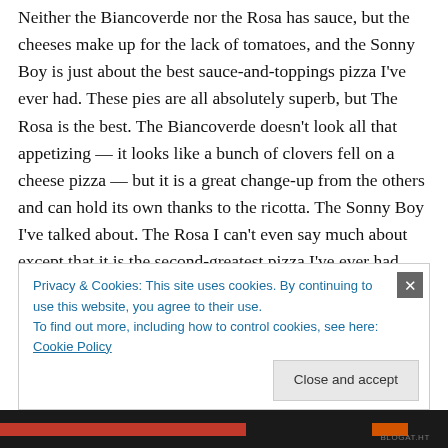Neither the Biancoverde nor the Rosa has sauce, but the cheeses make up for the lack of tomatoes, and the Sonny Boy is just about the best sauce-and-toppings pizza I've ever had. These pies are all absolutely superb, but The Rosa is the best. The Biancoverde doesn't look all that appetizing — it looks like a bunch of clovers fell on a cheese pizza — but it is a great change-up from the others and can hold its own thanks to the ricotta. The Sonny Boy I've talked about. The Rosa I can't even say much about except that it is the second-greatest pizza I've ever had,
Privacy & Cookies: This site uses cookies. By continuing to use this website, you agree to their use.
To find out more, including how to control cookies, see here: Cookie Policy
Close and accept